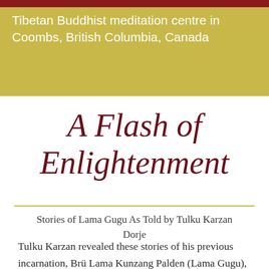Tibetan Buddhist meditation centre in Coombs, British Columbia, Canada
A Flash of Enlightenment
Stories of Lama Gugu As Told by Tulku Karzan Dorje
Tulku Karzan revealed these stories of his previous incarnation, Brü Lama Kunzang Palden (Lama Gugu), as a kindness. I had been